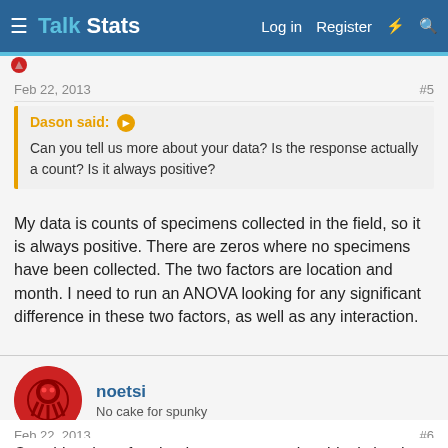Talk Stats — Log in  Register
Feb 22, 2013  #5
Dason said: ➔
Can you tell us more about your data? Is the response actually a count? Is it always positive?
My data is counts of specimens collected in the field, so it is always positive. There are zeros where no specimens have been collected. The two factors are location and month. I need to run an ANOVA looking for any significant difference in these two factors, as well as any interaction.
noetsi
No cake for spunky
Feb 22, 2013  #6
One thing that often leads to non-normal residuals is when there is a floor or a count it becomes a continuous observation…